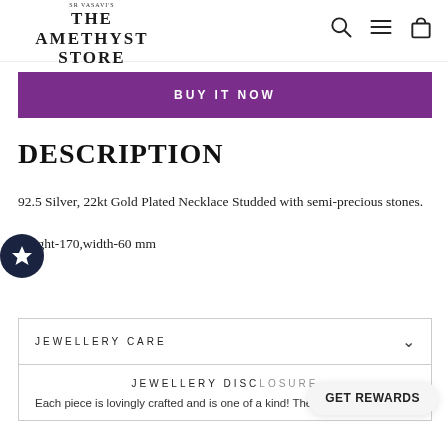SR VASAVI'S THE AMETHYST STORE
BUY IT NOW
DESCRIPTION
92.5 Silver, 22kt Gold Plated Necklace Studded with semi-precious stones.
Height-170,width-60 mm
JEWELLERY CARE
JEWELLERY DISC...
Each piece is lovingly crafted and is one of a kind! The
GET REWARDS